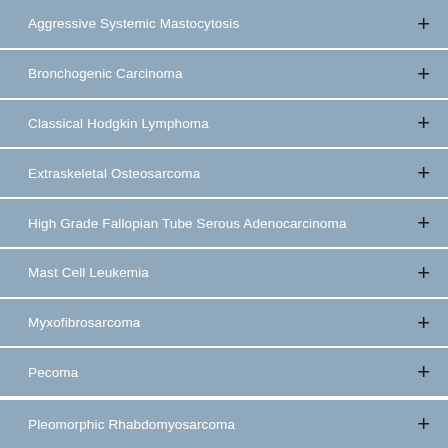Aggressive Systemic Mastocytosis
Bronchogenic Carcinoma
Classical Hodgkin Lymphoma
Extraskeletal Osteosarcoma
High Grade Fallopian Tube Serous Adenocarcinoma
Mast Cell Leukemia
Myxofibrosarcoma
Pecoma
Pleomorphic Rhabdomyosarcoma